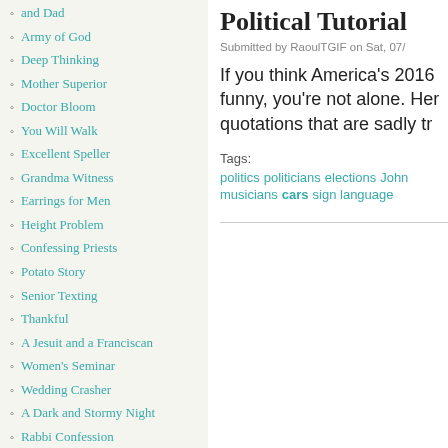and Dad
Army of God
Deep Thinking
Mother Superior
Doctor Bloom
You Will Walk
Excellent Speller
Grandma Witness
Earrings for Men
Height Problem
Confessing Priests
Potato Story
Senior Texting
Thankful
A Jesuit and a Franciscan
Women's Seminar
Wedding Crasher
A Dark and Stormy Night
Rabbi Confession
Polish Divorce
Stages of Life
Hollywood Squares
Political Tutorial
Submitted by RaoulTGIF on Sat, 07/
If you think America's 2016 funny, you're not alone. Her quotations that are sadly tr
Tags:
politics   politicians   elections   John musicians   cars   sign language